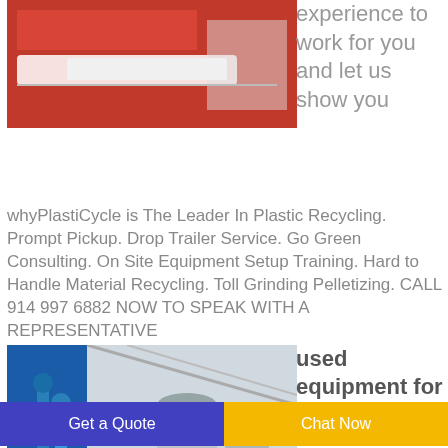[Figure (photo): Industrial plastic recycling conveyor/sorter equipment, white belt on red machine]
experience to work for you and let us show you
whyPlastiCycle is The Leader In Plastic Recycling. Prompt Pickup. Drop Trailer Service. Go Green Consulting. On Site Equipment Setup Training. Hard to Handle Material Recycling. Toll Grinding Pelletizing. CALL 914 997 6882 NOW TO SPEAK WITH A REPRESENTATIVE
[Figure (photo): Industrial recycling facility interior with blue equipment and large tanks]
used equipment for sale waste
Get a Quote
Chat Now